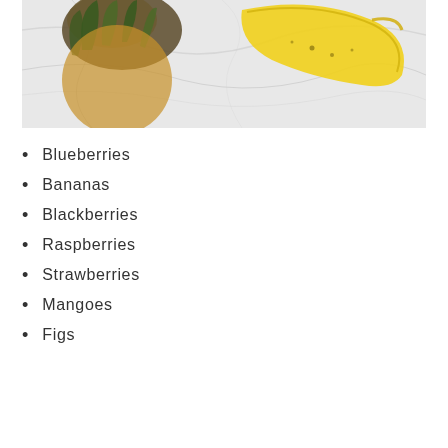[Figure (photo): Photo of tropical fruits including a pineapple and banana on a white marble surface, viewed from above. Upper portion of image visible.]
Blueberries
Bananas
Blackberries
Raspberries
Strawberries
Mangoes
Figs